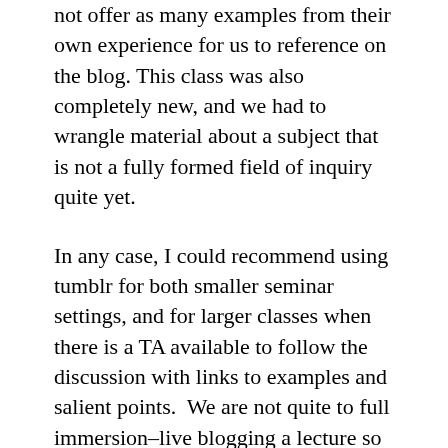not offer as many examples from their own experience for us to reference on the blog. This class was also completely new, and we had to wrangle material about a subject that is not a fully formed field of inquiry quite yet.
In any case, I could recommend using tumblr for both smaller seminar settings, and for larger classes when there is a TA available to follow the discussion with links to examples and salient points.  We are not quite to full immersion–live blogging a lecture so that a powerpoint isn't necessary, but we're getting closer. I'm guessing that in the next decade we'll have it being done for us–word clouds, reference images, and networks of meaning appearing behind us as we lecture.  That might actually get the attention of the students – for a